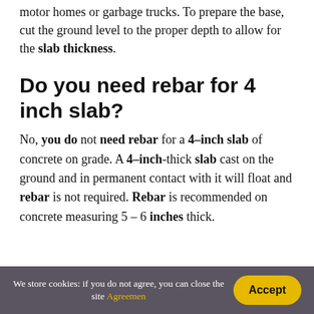motor homes or garbage trucks. To prepare the base, cut the ground level to the proper depth to allow for the slab thickness.
Do you need rebar for 4 inch slab?
No, you do not need rebar for a 4–inch slab of concrete on grade. A 4–inch-thick slab cast on the ground and in permanent contact with it will float and rebar is not required. Rebar is recommended on concrete measuring 5 – 6 inches thick.
We store cookies: if you do not agree, you can close the site Agreemen  Accept